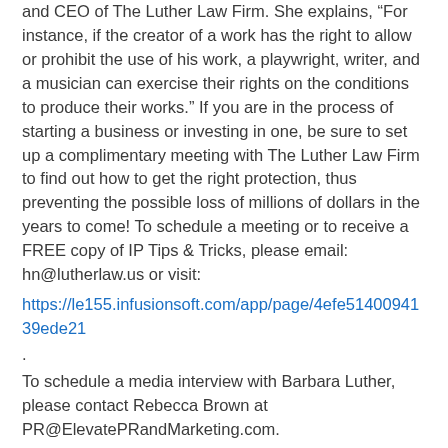and CEO of The Luther Law Firm. She explains, “For instance, if the creator of a work has the right to allow or prohibit the use of his work, a playwright, writer, and a musician can exercise their rights on the conditions to produce their works.” If you are in the process of starting a business or investing in one, be sure to set up a complimentary meeting with The Luther Law Firm to find out how to get the right protection, thus preventing the possible loss of millions of dollars in the years to come! To schedule a meeting or to receive a FREE copy of IP Tips & Tricks, please email: hn@lutherlaw.us or visit:
https://le155.infusionsoft.com/app/page/4efe5140094139ede21
.
To schedule a media interview with Barbara Luther, please contact Rebecca Brown at PR@ElevatePRandMarketing.com.
About Barbara Luther and The Luther Law Firm:
Barbara Luther, a top-rated patent attorney, has more to offer than just her expertise in patents and the laws that surround them. With a BS in medicine, an MBA, and as a